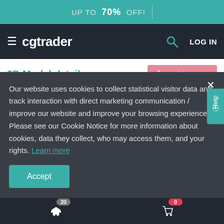UP TO 70% OFF!
[Figure (logo): cgtrader logo with hamburger menu, search icon, and LOG IN text on dark nav bar]
3D Model details
| Publish date | 2019-07-08 |
| Model ID | #2031818 |
Our website uses cookies to collect statistical visitor data and track interaction with direct marketing communication / improve our website and improve your browsing experience. Please see our Cookie Notice for more information about cookies, data they collect, who may access them, and your rights. Learn more
20 (piggy bank icon) | 0 (cart icon)